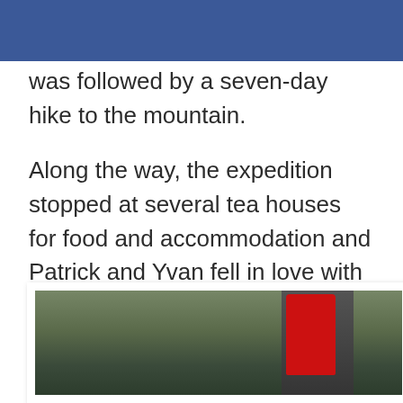was followed by a seven-day hike to the mountain.
Along the way, the expedition stopped at several tea houses for food and accommodation and Patrick and Yvan fell in love with the Nepali people.
[Figure (photo): Partial photograph showing a person hiking, with red gear/backpack visible, set against a green mountain trail background. Photo has a white border frame.]